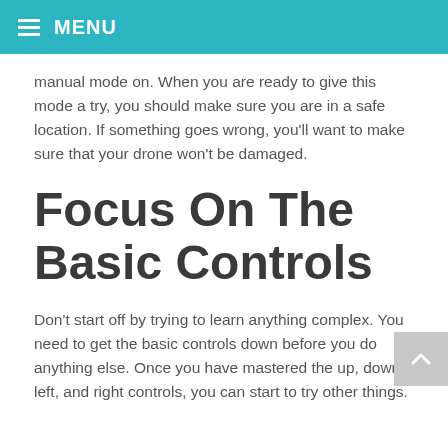MENU
manual mode on. When you are ready to give this mode a try, you should make sure you are in a safe location. If something goes wrong, you'll want to make sure that your drone won't be damaged.
Focus On The Basic Controls
Don't start off by trying to learn anything complex. You need to get the basic controls down before you do anything else. Once you have mastered the up, down, left, and right controls, you can start to try other things.